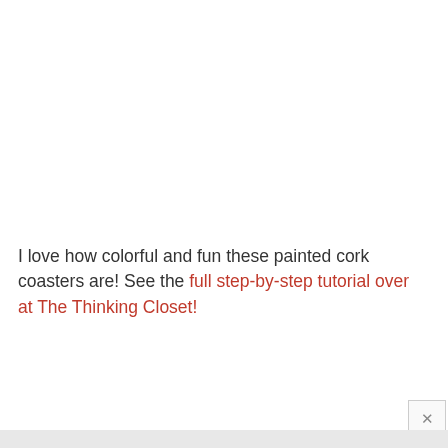I love how colorful and fun these painted cork coasters are! See the full step-by-step tutorial over at The Thinking Closet!